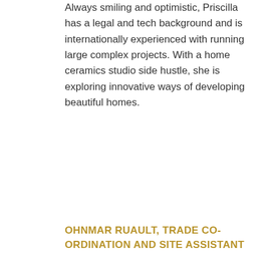Always smiling and optimistic, Priscilla has a legal and tech background and is internationally experienced with running large complex projects. With a home ceramics studio side hustle, she is exploring innovative ways of developing beautiful homes.
OHNMAR RUAULT, TRADE CO-ORDINATION AND SITE ASSISTANT